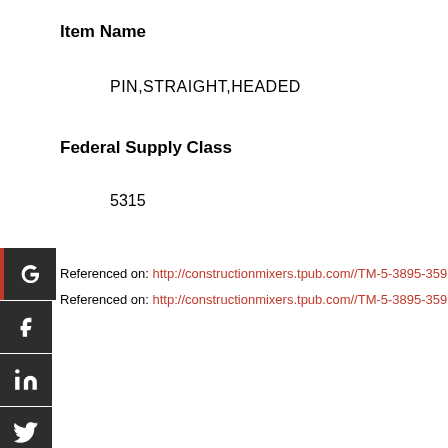Item Name
PIN,STRAIGHT,HEADED
Federal Supply Class
5315
Referenced on: http://constructionmixers.tpub.com//TM-5-3895-359...
Referenced on: http://constructionmixers.tpub.com//TM-5-3895-359...
[Figure (other): Social media sharing buttons: Google+, Facebook, LinkedIn, Twitter, another social icon, StumbleUpon]